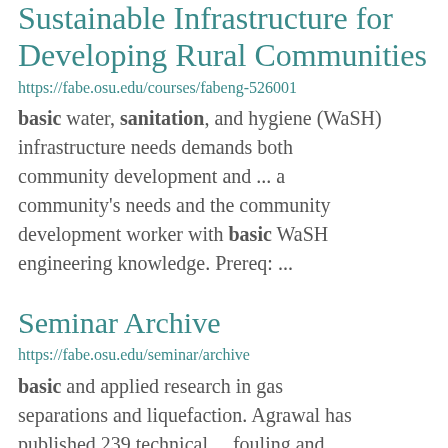Sustainable Infrastructure for Developing Rural Communities
https://fabe.osu.edu/courses/fabeng-526001
basic water, sanitation, and hygiene (WaSH) infrastructure needs demands both community development and ... a community's needs and the community development worker with basic WaSH engineering knowledge. Prereq: ...
Seminar Archive
https://fabe.osu.edu/seminar/archive
basic and applied research in gas separations and liquefaction. Agrawal has published 239 technical ... fouling and